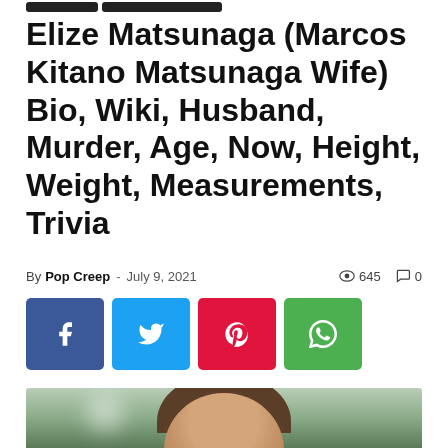Elize Matsunaga (Marcos Kitano Matsunaga Wife) Bio, Wiki, Husband, Murder, Age, Now, Height, Weight, Measurements, Trivia
By Pop Creep - July 9, 2021  645  0
[Figure (other): Social media share buttons: Facebook (blue), Twitter (cyan), Pinterest (red), WhatsApp (green)]
[Figure (photo): Partial photo of a woman's face with dark hair, blurred green bokeh background]